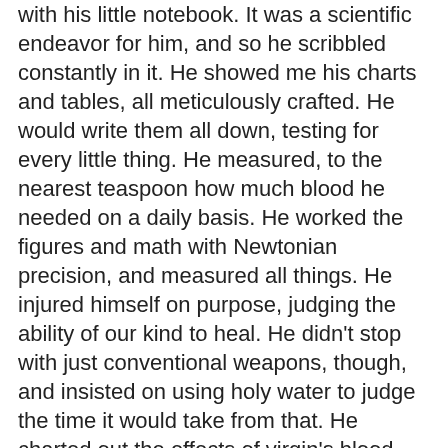with his little notebook. It was a scientific endeavor for him, and so he scribbled constantly in it. He showed me his charts and tables, all meticulously crafted. He would write them all down, testing for every little thing. He measured, to the nearest teaspoon how much blood he needed on a daily basis. He worked the figures and math with Newtonian precision, and measured all things. He injured himself on purpose, judging the ability of our kind to heal. He didn't stop with just conventional weapons, though, and insisted on using holy water to judge the time it would take from that. He charted out the effects of virgin's blood, and would have done the same for sunlight save that he still needed to sleep during the day.
"I bore it well, for I knew this to be nothing more than a beginning time where he needed to adjust to his new self. When that was done, he would be complete, and mine. Sadly, that time never came. I did not see the warning signs in front of me. I did not know how severe this intellectual curiosity could be.
"How could I?" She turned to look at me, and she wrapped arms about herself as if cold. Well, she was cold, but I didn't think she ever felt cold. "We moved from where